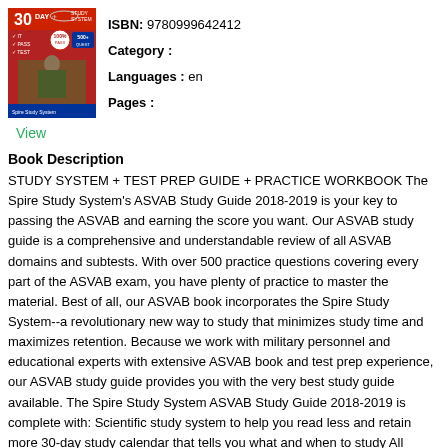[Figure (photo): Book cover of ASVAB Study Guide 2018-2019 with military imagery and red/white/blue design]
ISBN: 9780999642412
Category :
Languages : en
Pages :
View
Book Description
STUDY SYSTEM + TEST PREP GUIDE + PRACTICE WORKBOOK The Spire Study System's ASVAB Study Guide 2018-2019 is your key to passing the ASVAB and earning the score you want. Our ASVAB study guide is a comprehensive and understandable review of all ASVAB domains and subtests. With over 500 practice questions covering every part of the ASVAB exam, you have plenty of practice to master the material. Best of all, our ASVAB book incorporates the Spire Study System--a revolutionary new way to study that minimizes study time and maximizes retention. Because we work with military personnel and educational experts with extensive ASVAB book and test prep experience, our ASVAB study guide provides you with the very best study guide available. The Spire Study System ASVAB Study Guide 2018-2019 is complete with: Scientific study system to help you read less and retain more 30-day study calendar that tells you what and when to study All ASVAB domains and subtests covered in depth At-a-glance visual reviews outlining